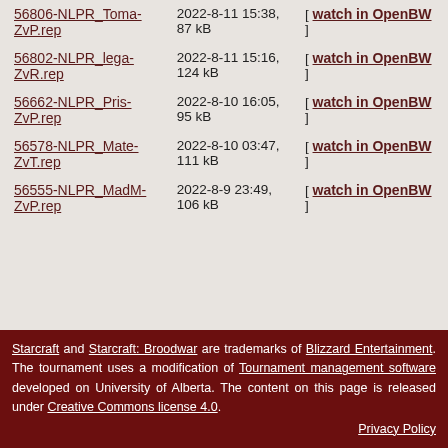| Filename | Date/Size | Watch |
| --- | --- | --- |
| 56806-NLPR_Toma-ZvP.rep | 2022-8-11 15:38, 87 kB | [ watch in OpenBW ] |
| 56802-NLPR_lega-ZvR.rep | 2022-8-11 15:16, 124 kB | [ watch in OpenBW ] |
| 56662-NLPR_Pris-ZvP.rep | 2022-8-10 16:05, 95 kB | [ watch in OpenBW ] |
| 56578-NLPR_Mate-ZvT.rep | 2022-8-10 03:47, 111 kB | [ watch in OpenBW ] |
| 56555-NLPR_MadM-ZvP.rep | 2022-8-9 23:49, 106 kB | [ watch in OpenBW ] |
Starcraft and Starcraft: Broodwar are trademarks of Blizzard Entertainment. The tournament uses a modification of Tournament management software developed on University of Alberta. The content on this page is released under Creative Commons license 4.0. Privacy Policy